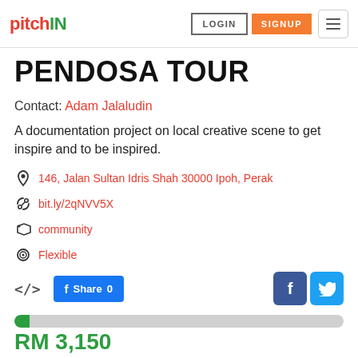pitchIN — LOGIN SIGNUP
PENDOSA TOUR
Contact: Adam Jalaludin
A documentation project on local creative scene to get inspire and to be inspired.
146, Jalan Sultan Idris Shah 30000 Ipoh, Perak
bit.ly/2qNVV5X
community
Flexible
Share 0
RM 3,150